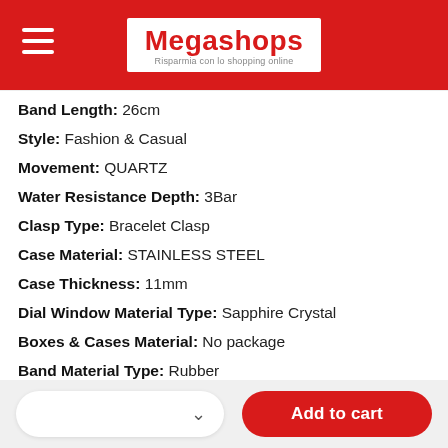Megashops — Risparmia con lo shopping online
Band Length: 26cm
Style: Fashion & Casual
Movement: QUARTZ
Water Resistance Depth: 3Bar
Clasp Type: Bracelet Clasp
Case Material: STAINLESS STEEL
Case Thickness: 11mm
Dial Window Material Type: Sapphire Crystal
Boxes & Cases Material: No package
Band Material Type: Rubber
Dial Diameter: 46mm
Model Number: AAA+
Band Width: 22mm
Case Shape: ROUND
Feature: Stop Watch